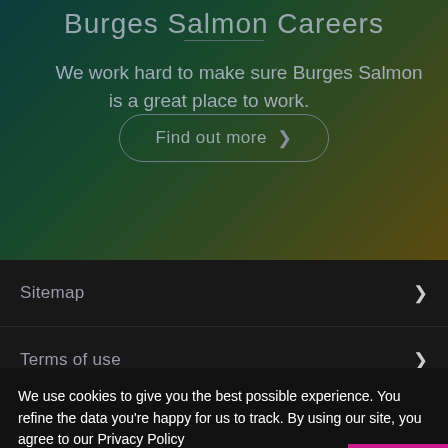Burges Salmon Careers
We work hard to make sure Burges Salmon is a great place to work.
Find out more >
Sitemap
Terms of use
We use cookies to give you the best possible experience. You refine the data you're happy for us to track. By using our site, you agree to our Privacy Policy